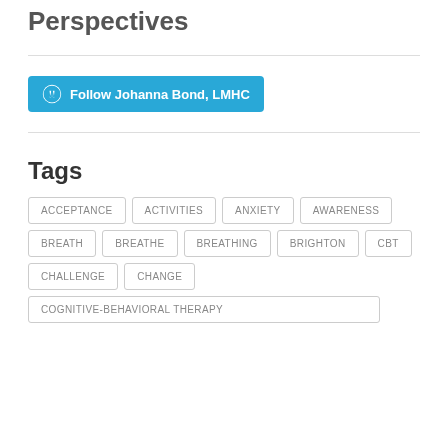Perspectives
[Figure (other): WordPress Follow button for Johanna Bond, LMHC]
Tags
ACCEPTANCE
ACTIVITIES
ANXIETY
AWARENESS
BREATH
BREATHE
BREATHING
BRIGHTON
CBT
CHALLENGE
CHANGE
COGNITIVE-BEHAVIORAL THERAPY